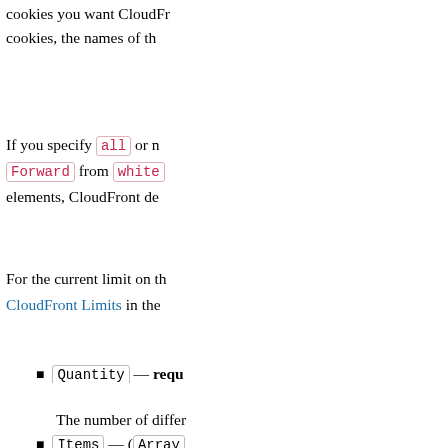cookies you want CloudFront cookies, the names of th
If you specify all or no Forward from white elements, CloudFront de
For the current limit on th CloudFront Limits in the
Quantity — requ
The number of differ
Items — (Array
A complex type that origin for this cache
Headers — (map)
A complex type that specifies